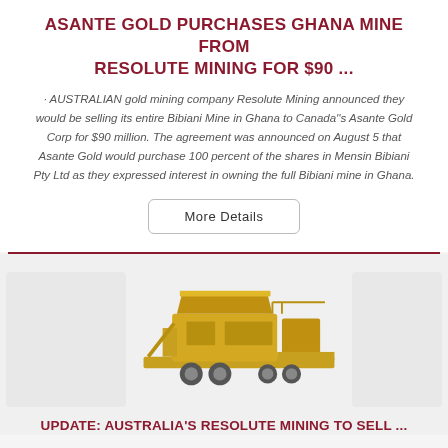ASANTE GOLD PURCHASES GHANA MINE FROM RESOLUTE MINING FOR $90 ...
· AUSTRALIAN gold mining company Resolute Mining announced they would be selling its entire Bibiani Mine in Ghana to Canada''s Asante Gold Corp for $90 million. The agreement was announced on August 5 that Asante Gold would purchase 100 percent of the shares in Mensin Bibiani Pty Ltd as they expressed interest in owning the full Bibiani mine in Ghana.
[Figure (other): Live Chat bubble widget with blue speech bubble icon and 'Live Chat' text, with a close X button]
[Figure (photo): Yellow mobile mining/crushing equipment on a flatbed trailer]
UPDATE: AUSTRALIA'S RESOLUTE MINING TO SELL ...